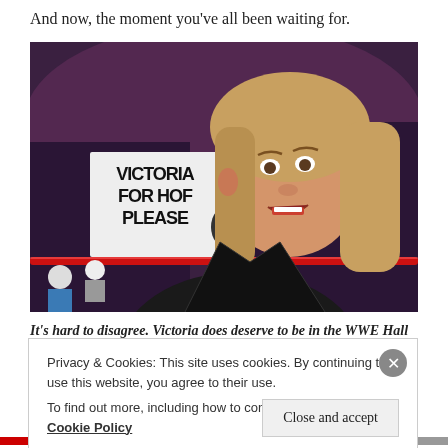And now, the moment you've all been waiting for.
[Figure (photo): A woman (Ronda Rousey) speaking into a WWE microphone at a wrestling event. Behind her is a crowd and a fan holding a sign reading 'VICTORIA FOR HOF PLEASE'. She is wearing a black leather jacket and has long blonde hair.]
It's hard to disagree. Victoria does deserve to be in the WWE Hall of
Privacy & Cookies: This site uses cookies. By continuing to use this website, you agree to their use.
To find out more, including how to control cookies, see here: Cookie Policy